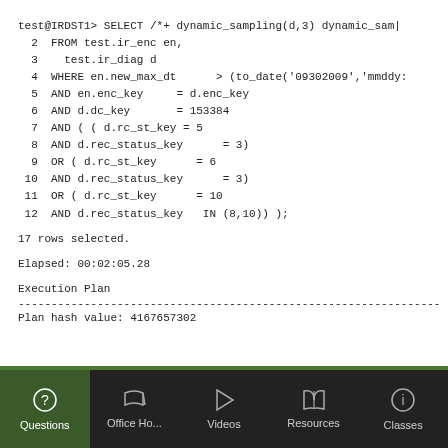test@IRDST1> SELECT /*+ dynamic_sampling(d,3) dynamic_sam|
  2  FROM test.ir_enc en,
  3    test.ir_diag d
  4  WHERE en.new_max_dt      > (to_date('09302009','mmddy:
  5  AND en.enc_key     = d.enc_key
  6  AND d.dc_key       = 153384
  7  AND ( ( d.rc_st_key = 5
  8  AND d.rec_status_key      = 3)
  9  OR ( d.rc_st_key      = 6
 10  AND d.rec_status_key      = 3)
 11  OR ( d.rc_st_key      = 10
 12  AND d.rec_status_key   IN (8,10)) );
17 rows selected.
Elapsed: 00:02:05.28
Execution Plan
----------------------------------------------------------------
Plan hash value: 4167657302
Questions | Office Ho... | Videos | Resources | Classes